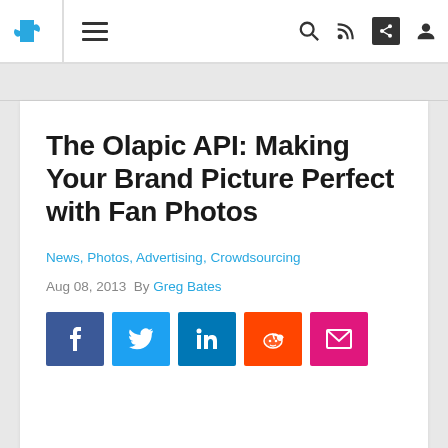Navigation bar with logo, hamburger menu, and icons for search, RSS, share, and user profile
The Olapic API: Making Your Brand Picture Perfect with Fan Photos
News, Photos, Advertising, Crowdsourcing
Aug 08, 2013 By Greg Bates
[Figure (infographic): Social sharing buttons: Facebook (blue), Twitter (light blue), LinkedIn (dark blue), Reddit (orange), Email (pink/magenta)]